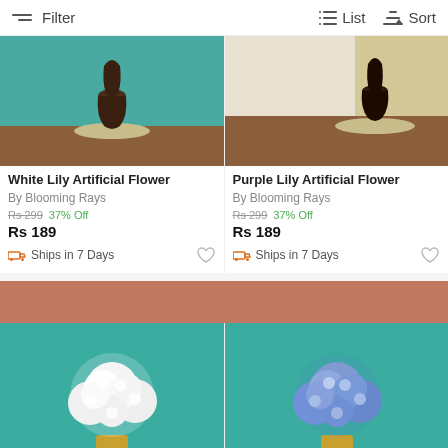Filter   List   Sort
[Figure (photo): White Lily Artificial Flower in dark brown vase on wooden mat, teal background]
[Figure (photo): Purple Lily Artificial Flower in dark brown vase on wooden mat, beige background]
White Lily Artificial Flower
By Blooming Rays
Rs 299  37% Off
Rs 189
Ships in 7 Days
Purple Lily Artificial Flower
By Blooming Rays
Rs 299  37% Off
Rs 189
Ships in 7 Days
[Figure (photo): White hydrangea artificial flower in black and gold vase, teal background]
[Figure (photo): Blue hydrangea artificial flower in black and gold vase, teal background]